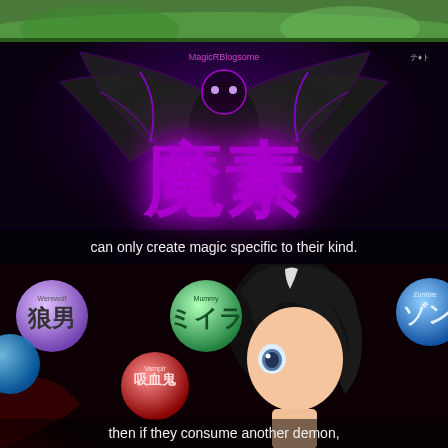[Figure (screenshot): Top strip: anime scene with green foliage background]
[Figure (screenshot): Middle panel: dark anime screenshot showing a winged demon creature with purple magical aura and large Japanese kanji characters '魔素' (magic element/mana) glowing in purple. Subtitle reads: 'can only create magic specific to their kind.']
[Figure (screenshot): Bottom panel: anime screenshot showing a dark-haired anime girl holding a red vampire orb. Various labeled orbs visible: Werewolf/狼男 (purple), Mummy/ミイラ (green), Zombie/ゾン (blue, partially cut), Vampire/吸血鬼 (red). Subtitle reads: 'then if they consume another demon,']